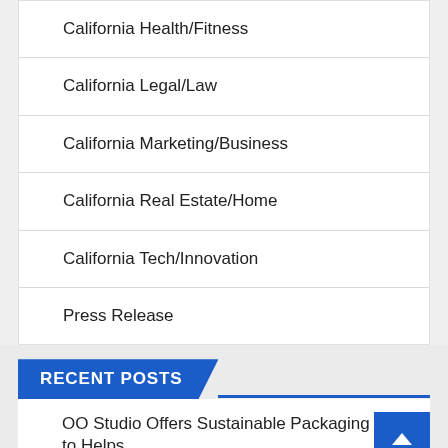California Health/Fitness
California Legal/Law
California Marketing/Business
California Real Estate/Home
California Tech/Innovation
Press Release
RECENT POSTS
OO Studio Offers Sustainable Packaging to Helps